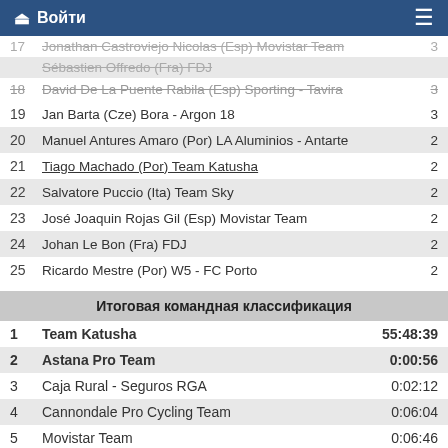Войти
| # | Rider | Pts |
| --- | --- | --- |
| 17 | Jonathan Castroviejo Nicolas (Esp) Movistar Team | 3 |
| 18 | Sébastien Offredo (Fra) FDJ |  |
| 18 | David De La Puente Rabila (Esp) Sporting - Tavira | 3 |
| 19 | Jan Barta (Cze) Bora - Argon 18 | 3 |
| 20 | Manuel Antures Amaro (Por) LA Aluminios - Antarte | 2 |
| 21 | Tiago Machado (Por) Team Katusha | 2 |
| 22 | Salvatore Puccio (Ita) Team Sky | 2 |
| 23 | José Joaquin Rojas Gil (Esp) Movistar Team | 2 |
| 24 | Johan Le Bon (Fra) FDJ | 2 |
| 25 | Ricardo Mestre (Por) W5 - FC Porto | 2 |
Итоговая командная классификация
| # | Team | Time |
| --- | --- | --- |
| 1 | Team Katusha | 55:48:39 |
| 2 | Astana Pro Team | 0:00:56 |
| 3 | Caja Rural - Seguros RGA | 0:02:12 |
| 4 | Cannondale Pro Cycling Team | 0:06:04 |
| 5 | Movistar Team | 0:06:46 |
| 6 | FDJ | 0:08:08 |
| 7 | Team LottoNL - Jumbo | 0:10:50 |
| 8 | Lotto - Soudal | 0:11:38 |
| 9 | Team Sky | 0:13:06 |
| 10 | IAM Cycling | 0:14:57 |